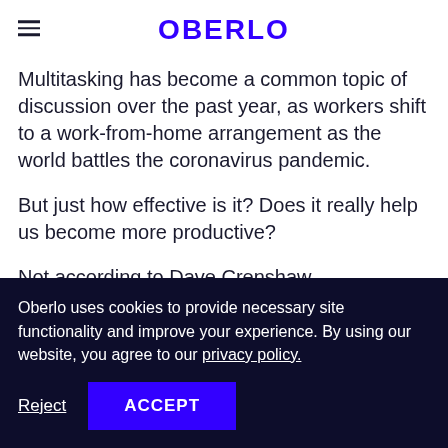OBERLO
Multitasking has become a common topic of discussion over the past year, as workers shift to a work-from-home arrangement as the world battles the coronavirus pandemic.
But just how effective is it? Does it really help us become more productive?
Not according to Dave Crenshaw.
Oberlo uses cookies to provide necessary site functionality and improve your experience. By using our website, you agree to our privacy policy.
Reject
ACCEPT